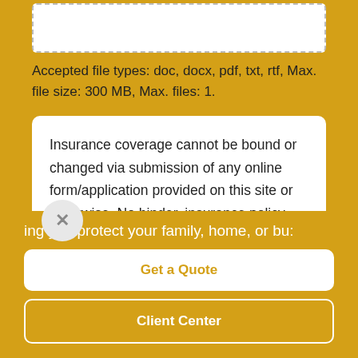[Figure (other): Dashed border upload/drop zone box]
Accepted file types: doc, docx, pdf, txt, rtf, Max. file size: 300 MB, Max. files: 1.
Insurance coverage cannot be bound or changed via submission of any online form/application provided on this site or otherwise. No binder, insurance policy,
ing you protect your family, home, or bu:
Get a Quote
Client Center